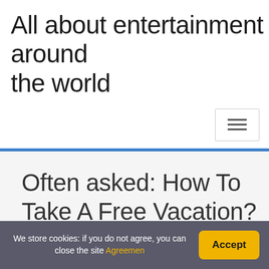All about entertainment around the world
Often asked: How To Take A Free Vacation?
Home / Vacation / Often asked: How To Take A Free Vacation?
We store cookies: if you do not agree, you can close the site Agreemen